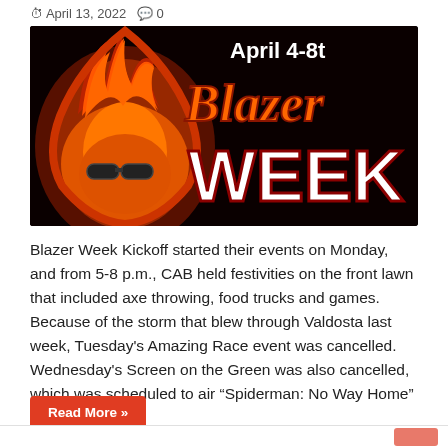April 13, 2022  0
[Figure (illustration): Blazer Week promotional graphic with animated flame mascot wearing sunglasses on black background, orange script 'Blazer' text and white bold 'WEEK' text, with 'April 4-8t' visible in top right corner]
Blazer Week Kickoff started their events on Monday, and from 5-8 p.m., CAB held festivities on the front lawn that included axe throwing, food trucks and games. Because of the storm that blew through Valdosta last week, Tuesday's Amazing Race event was cancelled. Wednesday's Screen on the Green was also cancelled, which was scheduled to air "Spiderman: No Way Home" …
Read More »